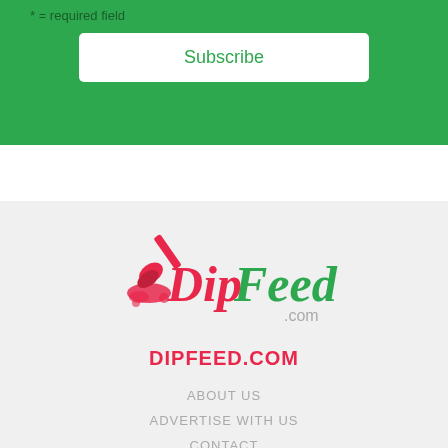* = required field
Subscribe
[Figure (logo): DipFeed.com logo with a red paint brush icon and stylized text 'Dip' in red cursive and 'Feed' in green cursive, with '.com' in grey]
DIPFEED.COM
ABOUT US
ADVERTISE WITH US
CONTACT
SITEMAP